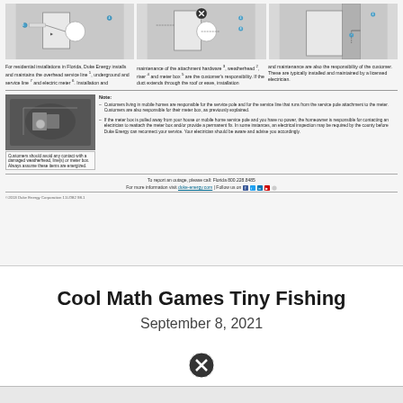[Figure (engineering-diagram): Three engineering diagrams showing electrical meter box and service line installation steps for residential properties]
For residential installations in Florida, Duke Energy installs and maintains the overhead service line 1, underground service line 7 and electric meter 6. Installation and maintenance of the attachment hardware 3, weatherhead 2, riser 4 and meter box 5 are the customer's responsibility. If the duct extends through the roof or eave, installation and maintenance are also the responsibility of the customer. These are typically installed and maintained by a licensed electrician.
[Figure (photo): Photo of a damaged weatherhead, lines, or meter box]
Customers should avoid any contact with a damaged weatherhead, line(s) or meter box. Always assume these items are energized.
Note:
- Customers living in mobile homes are responsible for the service pole and for the service line that runs from the service pole attachment to the meter. Customers are also responsible for their meter box, as previously explained.
- If the meter box is pulled away from your house or mobile home service pole and you have no power, the homeowner is responsible for contacting an electrician to reattach the meter box and/or provide a permanent fix. In some instances, an electrical inspection may be required by the county before Duke Energy can reconnect your service. Your electrician should be aware and advise you accordingly.
To report an outage, please call: Florida 800.228.8485
For more information visit duke-energy.com | Follow us on [social icons]
©2013 Duke Energy Corporation 11LO82 98.1
Cool Math Games Tiny Fishing
September 8, 2021